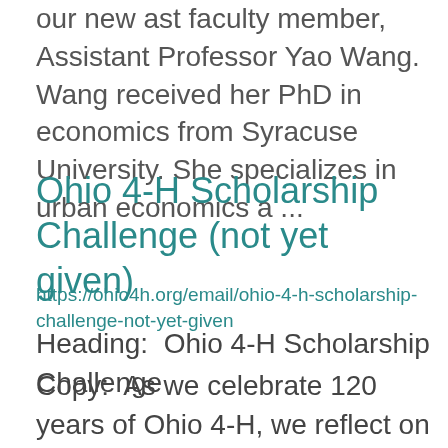our new ast faculty member, Assistant Professor Yao Wang. Wang received her PhD in economics from Syracuse University. She specializes in urban economics a ...
Ohio 4-H Scholarship Challenge (not yet given)
https://ohio4h.org/email/ohio-4-h-scholarship-challenge-not-yet-given
Heading:  Ohio 4-H Scholarship Challenge
Copy:  As we celebrate 120 years of Ohio 4-H, we reflect on our mission of inspiring curiosity, building lifelong skills, fueling adventure, and creating leaders— and the